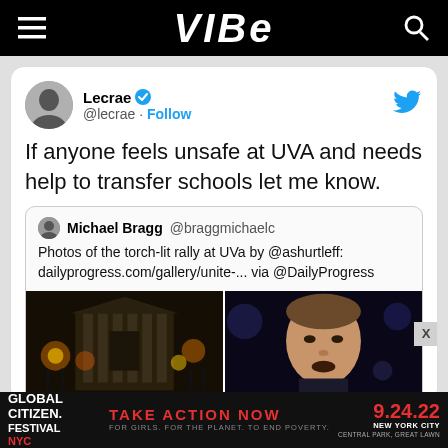VIBE
[Figure (screenshot): Tweet from Lecrae (@lecrae) with verified checkmark and Follow button. Tweet text: If anyone feels unsafe at UVA and needs help to transfer schools let me know. Quoted tweet from Michael Bragg @braggmichaelc: Photos of the torch-lit rally at UVa by @ashurtleff: dailyprogress.com/gallery/unite-... via @DailyProgress. Two images below: left shows a building with torches, right shows a man speaking.]
[Figure (screenshot): Advertisement banner: Global Citizen Festival NYC - TAKE ACTION NOW - 9.24.22 - New York City Central Park, Great Lawn]